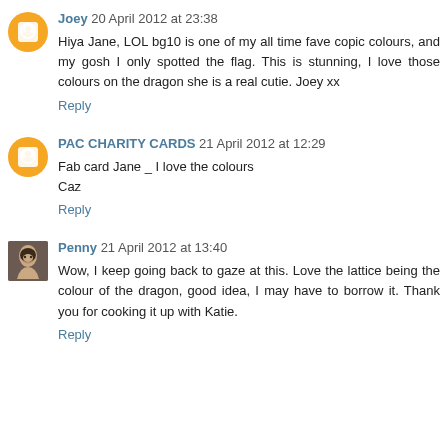Joey 20 April 2012 at 23:38
Hiya Jane, LOL bg10 is one of my all time fave copic colours, and my gosh I only spotted the flag. This is stunning, I love those colours on the dragon she is a real cutie. Joey xx
Reply
PAC CHARITY CARDS 21 April 2012 at 12:29
Fab card Jane _ I love the colours
Caz
Reply
Penny 21 April 2012 at 13:40
Wow, I keep going back to gaze at this. Love the lattice being the colour of the dragon, good idea, I may have to borrow it. Thank you for cooking it up with Katie.
Reply